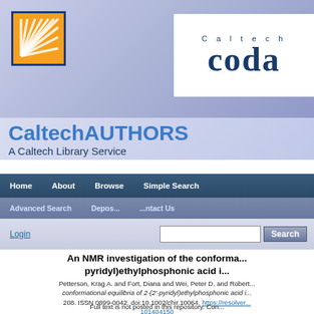[Figure (logo): CaltechAUTHORS / Caltech CODA header banner with orange Caltech logo and 'Caltech coda' text]
CaltechAUTHORS
A Caltech Library Service
Home   About   Browse   Simple Search
Advanced Search   Deposit   Contact Us
Login   Search
An NMR investigation of the conformational... pyridyl)ethylphosphonic acid i...
Petterson, Krag A. and Fort, Diana and Wei, Peter D. and Robert... conformational equilibria of 2-(2'-pyridyl)ethylphosphonic acid i... 208. ISSN 0899-0042. doi:10.1002/chir.10064. https://resolver... 101404150
Full text is not posted in this repository. Con...
Use this Persistent URL to link to this item: https://resolver.c...